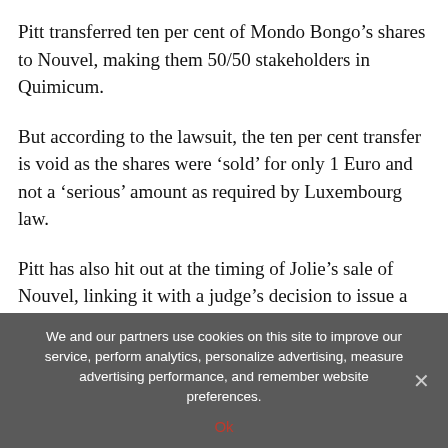Pitt transferred ten per cent of Mondo Bongo’s shares to Nouvel, making them 50/50 stakeholders in Quimicum.
But according to the lawsuit, the ten per cent transfer is void as the shares were ‘sold’ for only 1 Euro and not a ‘serious’ amount as required by Luxembourg law.
Pitt has also hit out at the timing of Jolie’s sale of Nouvel, linking it with a judge’s decision to issue a tentative ruling giving him 50/50
We and our partners use cookies on this site to improve our service, perform analytics, personalize advertising, measure advertising performance, and remember website preferences.